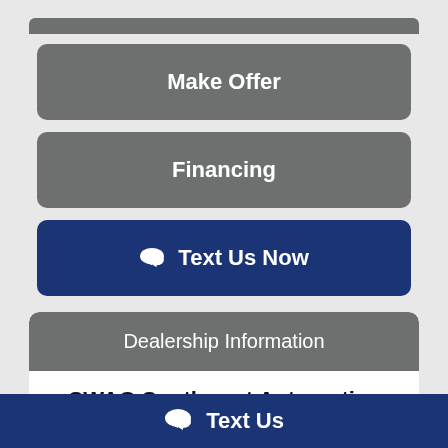Make Offer
Financing
Text Us Now
Dealership Information
SWAG Southwest Automotive Group
www.shopswag.info
11031 Southwest Freeway
Houston, TX 77074
281-879-4110
Text Us